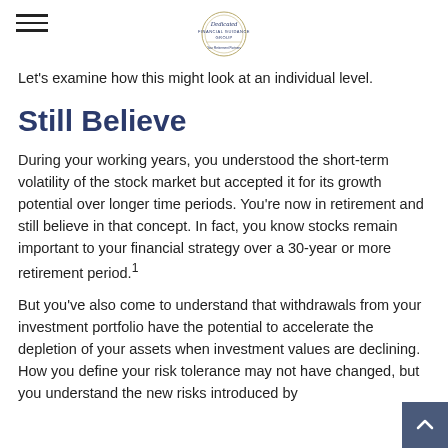Dedicated Financial Guidance Group
Let's examine how this might look at an individual level.
Still Believe
During your working years, you understood the short-term volatility of the stock market but accepted it for its growth potential over longer time periods. You're now in retirement and still believe in that concept. In fact, you know stocks remain important to your financial strategy over a 30-year or more retirement period.¹
But you've also come to understand that withdrawals from your investment portfolio have the potential to accelerate the depletion of your assets when investment values are declining. How you define your risk tolerance may not have changed, but you understand the new risks introduced by